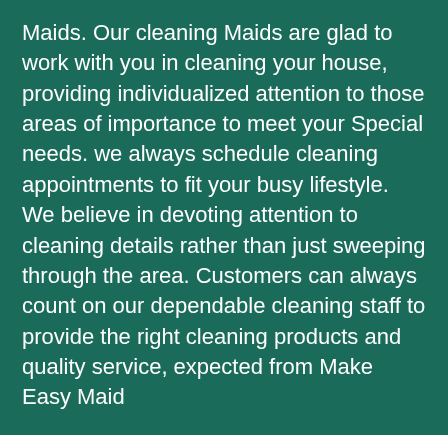Maids. Our cleaning Maids are glad to work with you in cleaning your house, providing individualized attention to those areas of importance to meet your Special needs. we always schedule cleaning appointments to fit your busy lifestyle. We believe in devoting attention to cleaning details rather than just sweeping through the area. Customers can always count on our dependable cleaning staff to provide the right cleaning products and quality service, expected from Make Easy Maid
WE KEEP YOUR HOME CLEAN AND HEALTHY FROM SEASON-TO-SEASON